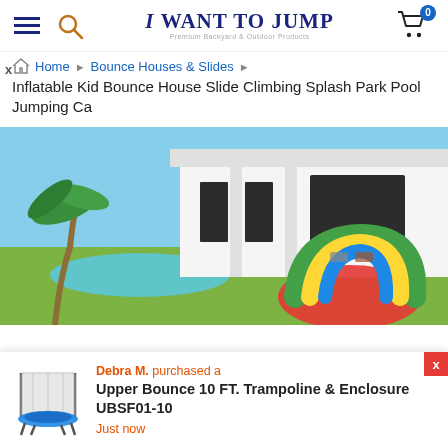I WANT TO JUMP - Premium Backyard & Outdoor Products
x
Home > Bounce Houses & Slides > Inflatable Kid Bounce House Slide Climbing Splash Park Pool Jumping Ca
[Figure (photo): Outdoor backyard scene with a white modern house, swimming pool, palm trees, green lawn, and a colorful inflatable bounce house/slide in the corner]
Debra M. purchased a
Upper Bounce 10 FT. Trampoline & Enclosure UBSF01-10
Just now